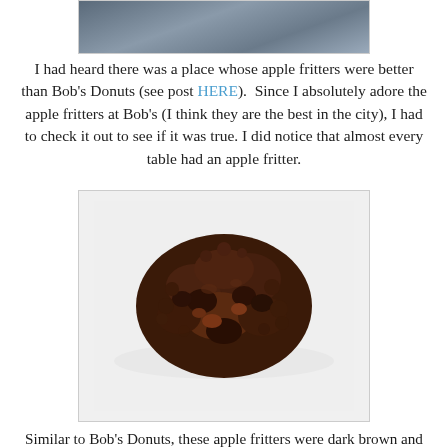[Figure (photo): Partial photo at top of page showing people at tables, cropped]
I had heard there was a place whose apple fritters were better than Bob's Donuts (see post HERE).  Since I absolutely adore the apple fritters at Bob's (I think they are the best in the city), I had to check it out to see if it was true.  I did notice that almost every table had an apple fritter.
[Figure (photo): Close-up photo of a dark brown, almost burnt-looking apple fritter on a white surface]
Similar to Bob's Donuts, these apple fritters were dark brown and almost burnt looking.  They didn't look the most